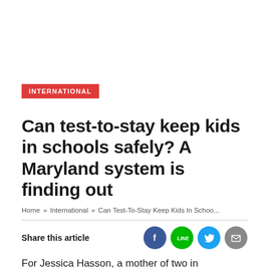INTERNATIONAL
Can test-to-stay keep kids in schools safely? A Maryland system is finding out
Home » International » Can Test-To-Stay Keep Kids In Schoo...
Share this article
For Jessica Hasson, a mother of two in